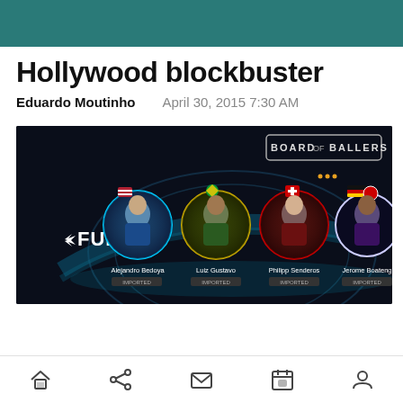Hollywood blockbuster
Eduardo Moutinho    April 30, 2015 7:30 AM
[Figure (screenshot): Fury90 soccer card game app screenshot showing players: Alejandro Bedoya, Luiz Gustavo, Philipp Senderos, Jerome Boateng. 'BOARD OF BALLERS' logo in top right. Dark space-themed background.]
Navigation bar with home, share, mail, calendar, and profile icons